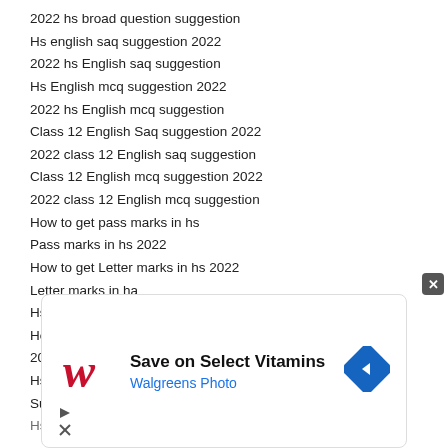2022 hs broad question suggestion
Hs english saq suggestion 2022
2022 hs English saq suggestion
Hs English mcq suggestion 2022
2022 hs English mcq suggestion
Class 12 English Saq suggestion 2022
2022 class 12 English saq suggestion
Class 12 English mcq suggestion 2022
2022 class 12 English mcq suggestion
How to get pass marks in hs
Pass marks in hs 2022
How to get Letter marks in hs 2022
Letter marks in ha
Hs English suggestion and tips 2022
How to get 90 marks in hs exam
2022 Hs exam how to get 90% Marks
Hs exam tricks and tips
Success tricks and tips of hsexam
Hs exam important tips2022
[Figure (screenshot): Walgreens Photo advertisement banner: 'Save on Select Vitamins' with Walgreens script-W logo in red and a blue diamond navigation arrow icon]